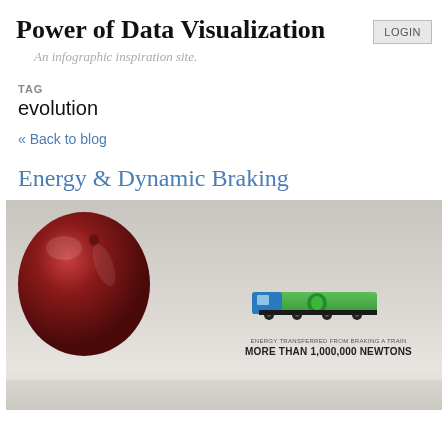Power of Data Visualization
An infographic inspiration site.
TAG
evolution
« Back to blog
Energy & Dynamic Braking
[Figure (photo): A red bowling ball on the left side and a green/blue locomotive train on the right side against a grey background, with text overlay reading 'ENERGY TRANSFERRED FROM BRAKING A TRAIN MORE THAN 1,000,000 NEWTONS']